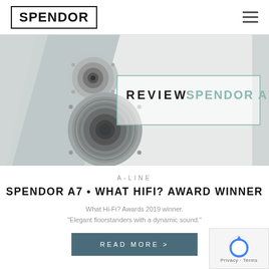SPENDOR
[Figure (photo): Close-up photo of a Spendor A7 loudspeaker showing the tweeter and woofer drivers against a light grey/white cabinet background with diagonal geometric shapes]
REVIEW SPENDOR A7
A-LINE
SPENDOR A7 • WHAT HIFI? AWARD WINNER
What Hi-Fi? Awards 2019 winner. "Elegant floorstanders with a dynamic sound."
READ MORE >